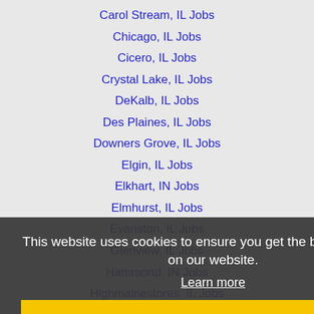Carol Stream, IL Jobs
Chicago, IL Jobs
Cicero, IL Jobs
Crystal Lake, IL Jobs
DeKalb, IL Jobs
Des Plaines, IL Jobs
Downers Grove, IL Jobs
Elgin, IL Jobs
Elkhart, IN Jobs
Elmhurst, IL Jobs
Evanston, IL Jobs
Glenview, IL Jobs
Hammond, IN Jobs
Highmainestores, IL Jobs
Joliet, IL Jobs
Kenosha, WI Jobs
Kokomo, IN Jobs
Lafayette, IN Jobs
This website uses cookies to ensure you get the best experience on our website.
Learn more
Got it!